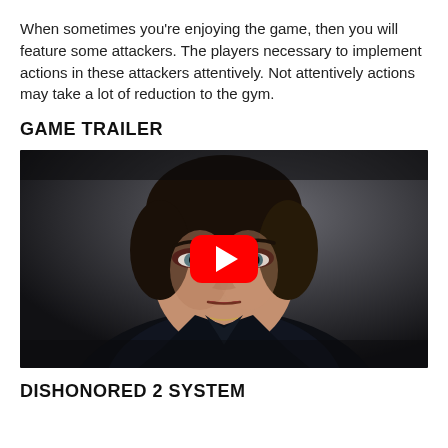When sometimes you're enjoying the game, then you will feature some attackers. The players necessary to implement actions in these attackers attentively. Not attentively actions may take a lot of reduction to the gym.
GAME TRAILER
[Figure (screenshot): Video thumbnail showing a close-up of a female character's face with a stern expression, with a YouTube play button overlay in the center.]
DISHONORED 2 SYSTEM